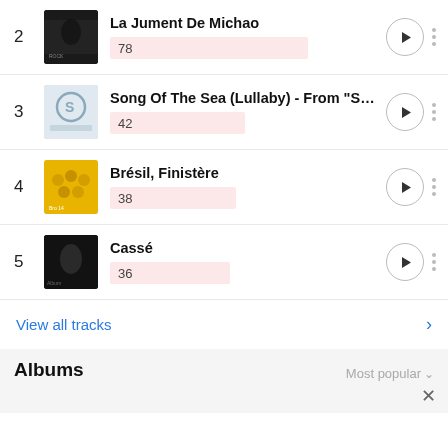2 – La Jument De Michao – 78
3 – Song Of The Sea (Lullaby) - From "Song O..." – 42
4 – Brésil, Finistère – 38
5 – Cassé – 36
View all tracks
Albums
Most popular